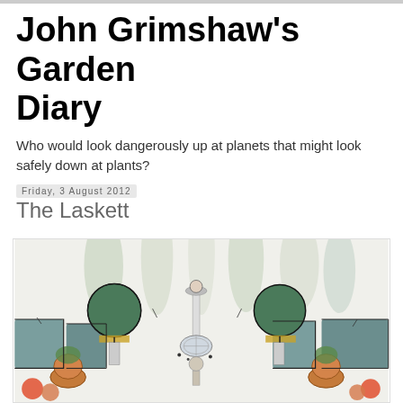John Grimshaw's Garden Diary
Who would look dangerously up at planets that might look safely down at plants?
Friday, 3 August 2012
The Laskett
[Figure (illustration): Watercolor and ink illustration of a formal garden scene with topiary spheres, architectural elements, statuary, and ornamental plants in teal, green, and gold tones.]